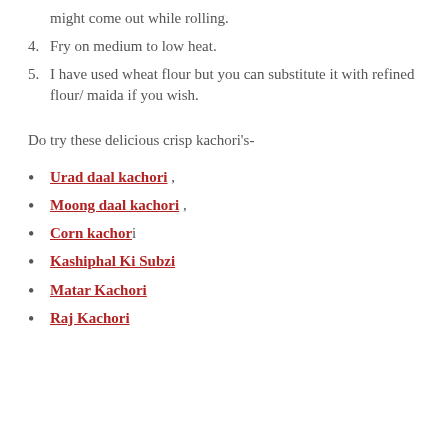might come out while rolling.
4. Fry on medium to low heat.
5. I have used wheat flour but you can substitute it with refined flour/ maida if you wish.
Do try these delicious crisp kachori's-
Urad daal kachori ,
Moong daal kachori ,
Corn kachori
Kashiphal Ki Subzi
Matar Kachori
Raj Kachori